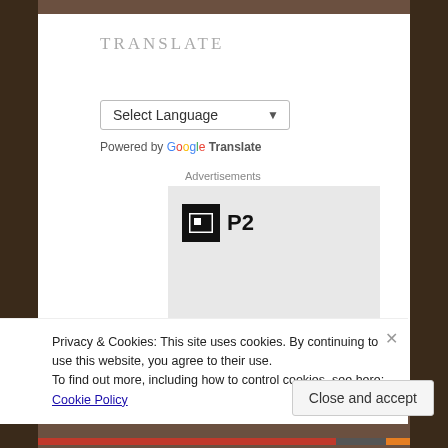TRANSLATE
Select Language
Powered by Google Translate
Advertisements
[Figure (logo): P2 logo with black square icon and text P2, followed by partially visible text 'Getting your']
Privacy & Cookies: This site uses cookies. By continuing to use this website, you agree to their use.
To find out more, including how to control cookies, see here: Cookie Policy
Close and accept